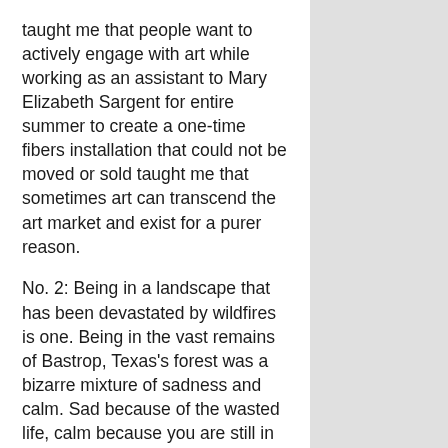taught me that people want to actively engage with art while working as an assistant to Mary Elizabeth Sargent for entire summer to create a one-time fibers installation that could not be moved or sold taught me that sometimes art can transcend the art market and exist for a purer reason.
No. 2: Being in a landscape that has been devastated by wildfires is one. Being in the vast remains of Bastrop, Texas's forest was a bizarre mixture of sadness and calm. Sad because of the wasted life, calm because you are still in nature. Experiencing that and trying to express it within the restrictions of a 22 x 30 inch piece of paper has shaped my style. Also, the millions of instances where you don't have control resulting in the practice of patience and acceptance. All of my materials have their